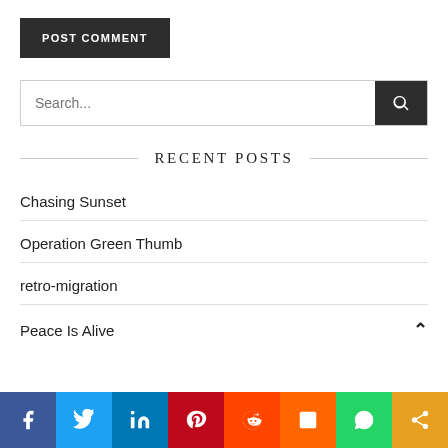POST COMMENT
Search...
RECENT POSTS
Chasing Sunset
Operation Green Thumb
retro-migration
Peace Is Alive
[Figure (infographic): Social media share bar with icons: Facebook, Twitter, LinkedIn, Pinterest, Reddit, Mix, WhatsApp, Share]